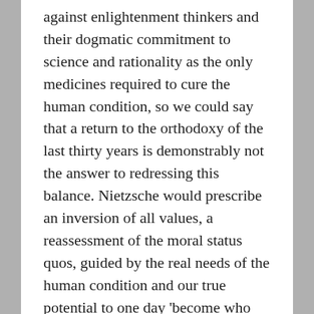against enlightenment thinkers and their dogmatic commitment to science and rationality as the only medicines required to cure the human condition, so we could say that a return to the orthodoxy of the last thirty years is demonstrably not the answer to redressing this balance. Nietzsche would prescribe an inversion of all values, a reassessment of the moral status quos, guided by the real needs of the human condition and our true potential to one day 'become who we are'. Whilst such an analysis is not as fanciful as so many misguided critics would have you believe; the prophecy of the coming superman is a project vulnerable to all manner of pretenders to the throne. The inversion of values however, or rather the creation of